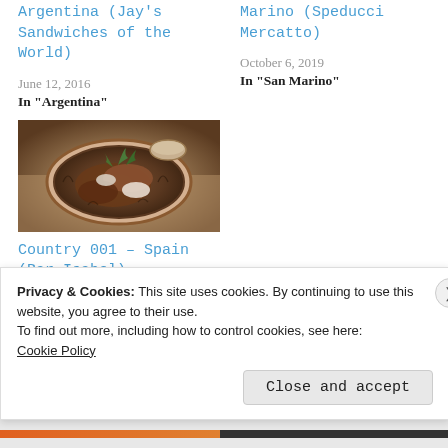Argentina (Jay's Sandwiches of the World)
June 12, 2016
In "Argentina"
Marino (Speducci Mercatto)
October 6, 2019
In "San Marino"
[Figure (photo): Food dish on a decorative plate with garnish]
Country 001 – Spain (Bar Isabel)
February 16, 2015
Privacy & Cookies: This site uses cookies. By continuing to use this website, you agree to their use.
To find out more, including how to control cookies, see here:
Cookie Policy
Close and accept